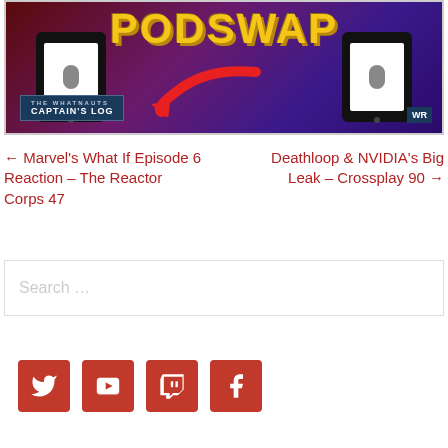[Figure (illustration): PODSWAP podcast banner image with purple/dark background, yellow bold PODSWAP text, two tablets with microphone icons, a red arrow pointing left, Captain's Log branding label, and WR logo in bottom right corner]
← Marvel's What If Episode 6 Reaction – The Reactor Corps 47
Deathloop & NVIDIA's Big Leak – Crossplay 90 →
Search …
[Figure (illustration): Social media icon buttons: Twitter (bird), YouTube, Twitch, Facebook — all red square buttons with white icons]